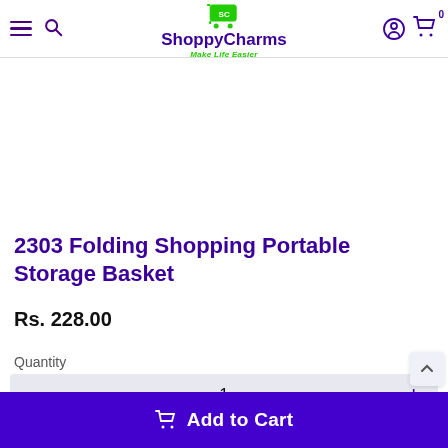ShoppyCharms — Make Life Easier (navigation header with hamburger menu, search, logo, user icon, cart with 0 items)
[Figure (photo): Product image area (white/blank — product photo region for folding shopping basket)]
2303 Folding Shopping Portable Storage Basket
Rs. 228.00
Quantity
1 (quantity selector with minus and plus buttons)
Add to Cart